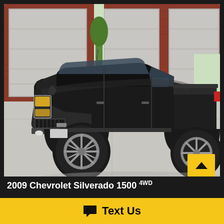[Figure (photo): Black 2009 Chevrolet Silverado 1500 4WD pickup truck parked in front of a red brick building with gray garage doors, photographed on a concrete surface in daylight.]
2009 Chevrolet Silverado 1500 4WD
Text Us